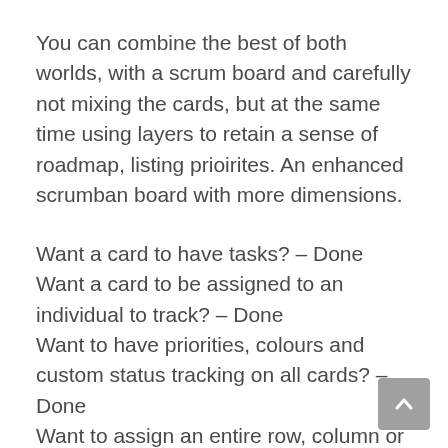You can combine the best of both worlds, with a scrum board and carefully not mixing the cards, but at the same time using layers to retain a sense of roadmap, listing prioirites. An enhanced scrumban board with more dimensions.
Want a card to have tasks? – Done
Want a card to be assigned to an individual to track? – Done
Want to have priorities, colours and custom status tracking on all cards? – Done
Want to assign an entire row, column or grouping to an individual to team? – Done